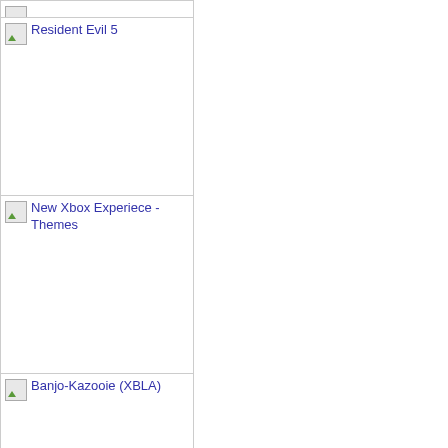Resident Evil 5
New Xbox Experiece - Themes
Banjo-Kazooie (XBLA)
RacePro
Halo Wars Brute concept art
New Xbox Experience